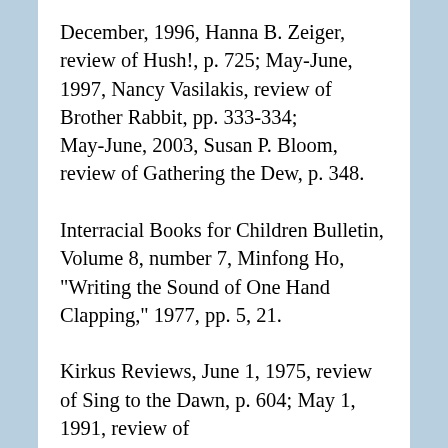December, 1996, Hanna B. Zeiger, review of Hush!, p. 725; May–June, 1997, Nancy Vasilakis, review of Brother Rabbit, pp. 333–334; May–June, 2003, Susan P. Bloom, review of Gathering the Dew, p. 348. Interracial Books for Children Bulletin, Volume 8, number 7, Minfong Ho, "Writing the Sound of One Hand Clapping," 1977, pp. 5, 21. Kirkus Reviews, June 1, 1975, review of Sing to the Dawn, p. 604; May 1, 1991, review of